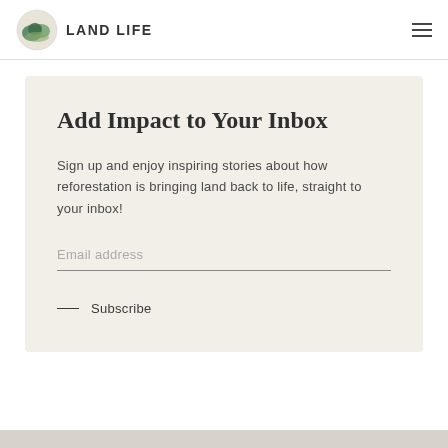LAND LIFE
Add Impact to Your Inbox
Sign up and enjoy inspiring stories about how reforestation is bringing land back to life, straight to your inbox!
Email address
— Subscribe